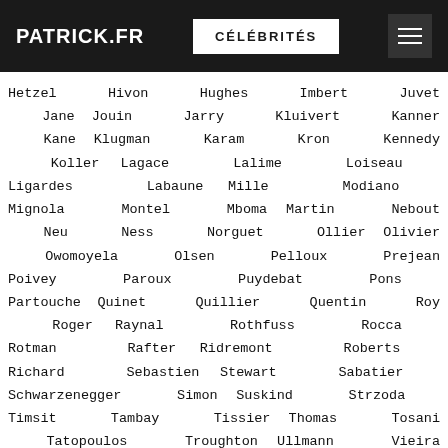PATRICK.FR | CÉLÉBRITÉS
Hetzel Hivon Hughes Imbert Juvet Jane Jouin Jarry Kluivert Kanner Kane Klugman Karam Kron Kennedy Koller Lagace Lalime Loiseau Ligardes Labaune Mille Modiano Mignola Montel Mboma Martin Nebout Neu Ness Norguet Ollier Olivier Owomoyela Olsen Pelloux Prejean Poivey Paroux Puydebat Pons Partouche Quinet Quillier Quentin Roy Roger Raynal Rothfuss Rocca Rotman Rafter Ridremont Roberts Richard Sebastien Stewart Sabatier Schwarzenegger Simon Suskind Strzoda Timsit Tambay Tissier Thomas Tosani Tatopoulos Troughton Ullmann Vieira Vignal Viveret Vincent Vial Vian Villas Wilson Watson Wayne Weil Weber Warburton Weiten Williams Wathing Wolfe Zacher Zacher Zahir